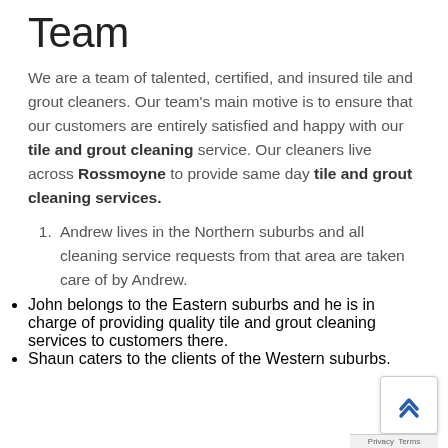Team
We are a team of talented, certified, and insured tile and grout cleaners. Our team's main motive is to ensure that our customers are entirely satisfied and happy with our tile and grout cleaning service. Our cleaners live across Rossmoyne to provide same day tile and grout cleaning services.
Andrew lives in the Northern suburbs and all cleaning service requests from that area are taken care of by Andrew.
John belongs to the Eastern suburbs and he is in charge of providing quality tile and grout cleaning services to customers there.
Shaun caters to the clients of the Western suburbs.